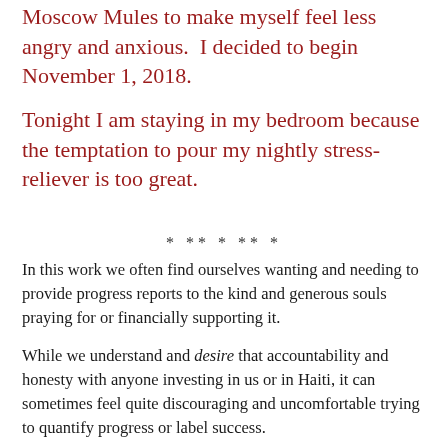Moscow Mules to make myself feel less angry and anxious.  I decided to begin November 1, 2018.
Tonight I am staying in my bedroom because the temptation to pour my nightly stress-reliever is too great.
* ** * ** *
In this work we often find ourselves wanting and needing to provide progress reports to the kind and generous souls praying for or financially supporting it.
While we understand and desire that accountability and honesty with anyone investing in us or in Haiti, it can sometimes feel quite discouraging and uncomfortable trying to quantify progress or label success.
We (Troy and I) spend many nights sitting together asking ourselves what is being accomplished. Is it good? Do we